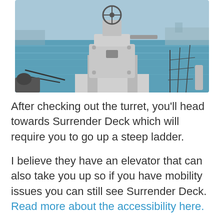[Figure (photo): A naval gun turret mounted on a ship deck, photographed outdoors near a harbor. The turret is white/grey metal with a circular aiming mechanism on top. In the background is blue-green harbor water and distant structures. Rope netting is visible on the right side.]
After checking out the turret, you'll head towards Surrender Deck which will require you to go up a steep ladder.
I believe they have an elevator that can also take you up so if you have mobility issues you can still see Surrender Deck. Read more about the accessibility here.